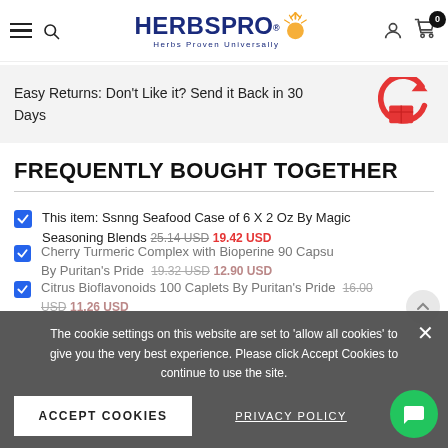HERBSPRO — Herbs Proven Universally
Easy Returns: Don't Like it? Send it Back in 30 Days
FREQUENTLY BOUGHT TOGETHER
This item: Ssnng Seafood Case of 6 X 2 Oz By Magic Seasoning Blends 25.14 USD 19.42 USD
Cherry Turmeric Complex with Bioperine 90 Capsu By Puritan's Pride 19.32 USD 12.90 USD
Citrus Bioflavonoids 100 Caplets By Puritan's Pride 16.00 USD 11.26 USD
The cookie settings on this website are set to 'allow all cookies' to give you the very best experience. Please click Accept Cookies to continue to use the site.